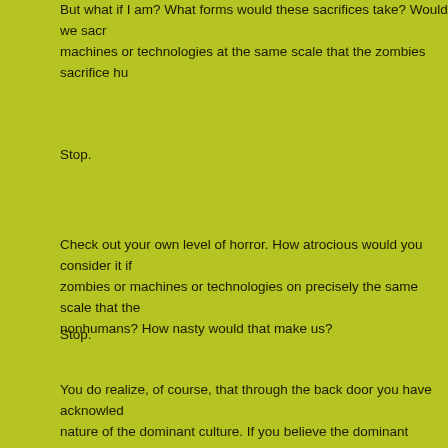But what if I am? What forms would these sacrifices take? Would we sacr machines or technologies at the same scale that the zombies sacrifice hu
Stop.
Check out your own level of horror. How atrocious would you consider it if zombies or machines or technologies on precisely the same scale that the nonhumans? How nasty would that make us?
Stop.
You do realize, of course, that through the back door you have acknowled nature of the dominant culture. If you believe the dominant culture is not s nonhumans to its gods, why would you express any shock whatsoever at precisely the same level of sacrifice (in this case, zero)? And if you do beli sacrificing humans and nonhumans to its gods, why would you not want to using whatever means are necessary?
❮ Softening the Enemy (p. 395)
Home    About    Work    Appe
Copyright © 2022 The official Derrick Jens